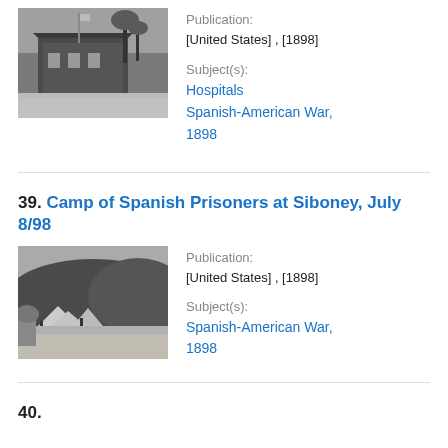[Figure (photo): Black and white photograph of a building with palm trees, likely a hospital during the Spanish-American War, 1898]
Publication: [United States] , [1898]
Subject(s): Hospitals Spanish-American War, 1898
39. Camp of Spanish Prisoners at Siboney, July 8/98
[Figure (photo): Black and white photograph of a camp with tents in a hilly landscape, Camp of Spanish Prisoners at Siboney, July 1898]
Publication: [United States] , [1898]
Subject(s): Spanish-American War, 1898
40. [title continues below]